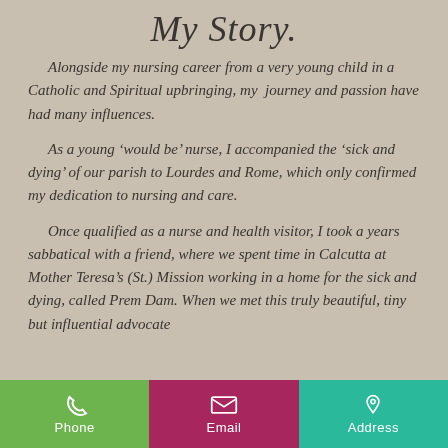My Story.
Alongside my nursing career from a very young child in a Catholic and Spiritual upbringing, my  journey and passion have had many influences.
As a young ‘would be’ nurse, I accompanied the ‘sick and dying’ of our parish to Lourdes and Rome, which only confirmed my dedication to nursing and care.
Once qualified as a nurse and health visitor, I took a years sabbatical with a friend, where we spent time in Calcutta at Mother Teresa’s (St.) Mission working in a home for the sick and dying, called Prem Dam. When we met this truly beautiful, tiny but influential advocate
Phone   Email   Address